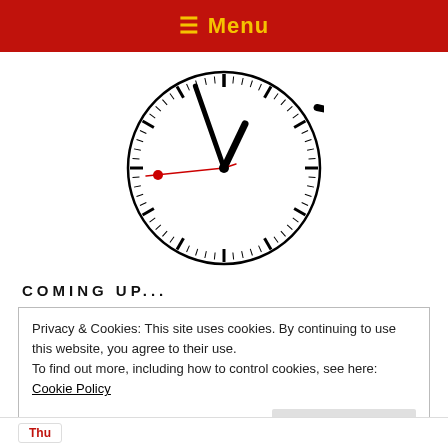≡ Menu
[Figure (illustration): Analog Swiss railway-style clock showing approximately 1:58, with black hour and minute hands, a red second hand, and tick marks around the face.]
COMING UP...
Privacy & Cookies: This site uses cookies. By continuing to use this website, you agree to their use.
To find out more, including how to control cookies, see here: Cookie Policy
Close and accept